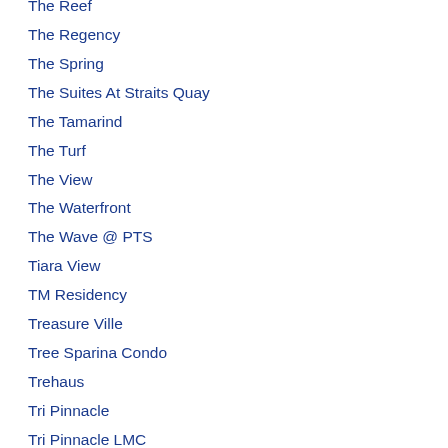The Reef
The Regency
The Spring
The Suites At Straits Quay
The Tamarind
The Turf
The View
The Waterfront
The Wave @ PTS
Tiara View
TM Residency
Treasure Ville
Tree Sparina Condo
Trehaus
Tri Pinnacle
Tri Pinnacle LMC
Triuni Residences
Tropic Suites